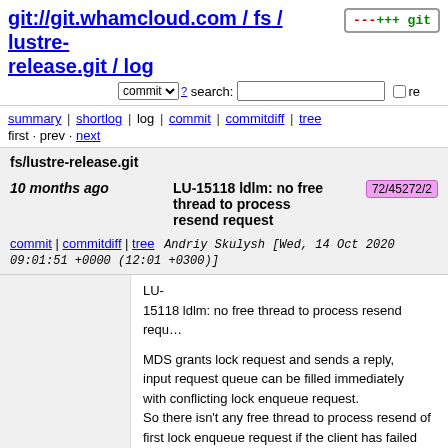git://git.whamcloud.com / fs / lustre-release.git / log
summary | shortlog | log | commit | commitdiff | tree
first · prev · next
fs/lustre-release.git
10 months ago   LU-15118 ldlm: no free thread to process resend request   72/45272/2
commit | commitdiff | tree   Andriy Skulysh [Wed, 14 Oct 2020 09:01:51 +0000 (12:01 +0300)]
LU-15118 ldlm: no free thread to process resend request

MDS grants lock request and sends a reply, input request queue can be filled immediately with conflicting lock enqueue request.
So there isn't any free thread to process resend of first lock enqueue request if the client has failed to receive the reply.

Process lock enqueue resends with existing lock context in high priority queue.

Change-